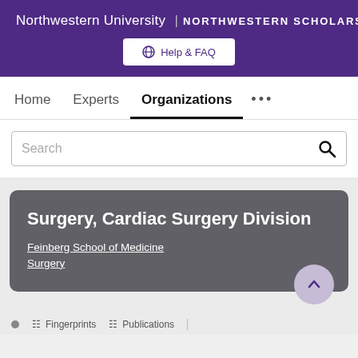Northwestern University | NORTHWESTERN SCHOLARS
Help & FAQ
Home   Experts   Organizations   ...
Search
Surgery, Cardiac Surgery Division
Feinberg School of Medicine
Surgery